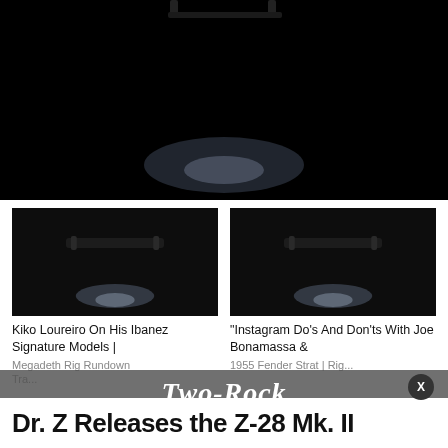[Figure (screenshot): Dark video thumbnail with a white play button triangle in the center and a subtle glow at the bottom]
[Figure (screenshot): Small thumbnail: dark background with a black guitar handle/bar piece and a blue-white glow below it]
Kiko Loureiro On His Ibanez Signature Models | Megadeth Rig Rundown Tra...
[Figure (screenshot): Small thumbnail: dark background with a black guitar handle/bar piece and a blue-white glow below it]
"Instagram Do's And Don'ts With Joe Bonamassa & 1955 Fender Strat | Rig...
[Figure (logo): Two-Rock Amplifiers advertisement overlay banner with script logo on dark grey background]
Dr. Z Releases the Z-28 Mk. II